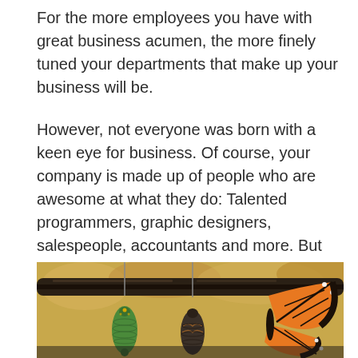For the more employees you have with great business acumen, the more finely tuned your departments that make up your business will be.
However, not everyone was born with a keen eye for business. Of course, your company is made up of people who are awesome at what they do: Talented programmers, graphic designers, salespeople, accountants and more. But do they have business acumen along with their primary skill set? And if not, is there anything the HR team can do to help develop it?
[Figure (photo): Close-up photograph of monarch butterfly chrysalises hanging from a dark metal rod or bar, with woven basket material visible in the background. A green chrysalis is on the left, a darker (more developed) chrysalis in the middle, and a partial view of a monarch butterfly with orange and black wings on the right.]